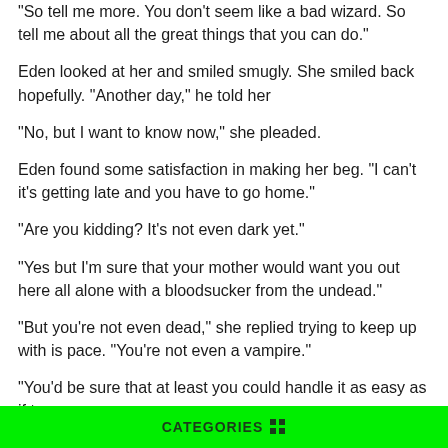“So tell me more. You don’t seem like a bad wizard. So tell me about all the great things that you can do.”
Eden looked at her and smiled smugly. She smiled back hopefully. “Another day,” he told her
“No, but I want to know now,” she pleaded.
Eden found some satisfaction in making her beg. “I can’t it’s getting late and you have to go home.”
“Are you kidding? It’s not even dark yet.”
“Yes but I’m sure that your mother would want you out here all alone with a bloodsucker from the undead.”
“But you’re not even dead,” she replied trying to keep up with is pace. “You’re not even a vampire.”
“You’d be sure that at least you could handle it as easy as if t…
CATEGORIES